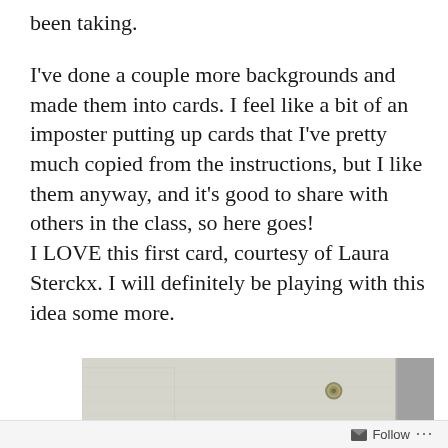been taking.
I've done a couple more backgrounds and made them into cards. I feel like a bit of an imposter putting up cards that I've pretty much copied from the instructions, but I like them anyway, and it's good to share with others in the class, so here goes!
I LOVE this first card, courtesy of Laura Sterckx. I will definitely be playing with this idea some more.
[Figure (photo): A close-up photo of a white/light grey embossed card with a small metallic brad or eyelet visible in the upper right area of the card.]
Follow ...